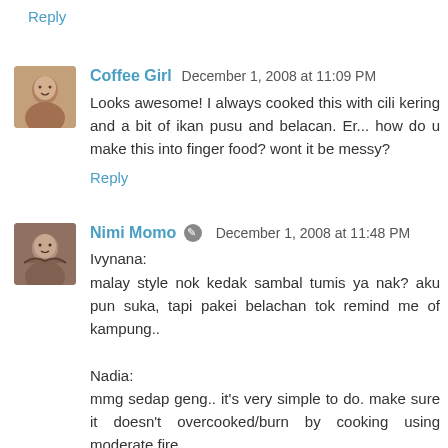Reply
Coffee Girl  December 1, 2008 at 11:09 PM
Looks awesome! I always cooked this with cili kering and a bit of ikan pusu and belacan. Er... how do u make this into finger food? wont it be messy?
Reply
Nimi Momo  December 1, 2008 at 11:48 PM
Ivynana:
malay style nok kedak sambal tumis ya nak? aku pun suka, tapi pakei belachan tok remind me of kampung..

Nadia:
mmg sedap geng.. it's very simple to do. make sure it doesn't overcooked/burn by cooking using moderate fire.

one other: